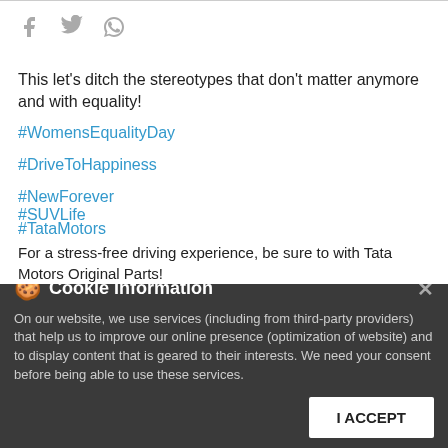[Figure (other): Social share icons: Facebook, Twitter, WhatsApp]
This let's ditch the stereotypes that don't matter anymore and with equality!
#WomensEqualityDay
#DriveToHappiness
#NewForever
#TataMotors
#Cars
#SUVLife
Cookie Information
On our website, we use services (including from third-party providers) that help us to improve our online presence (optimization of website) and to display content that is geared to their interests. We need your consent before being able to use these services.
For a stress-free driving experience, be sure to with Tata Motors Original Parts!